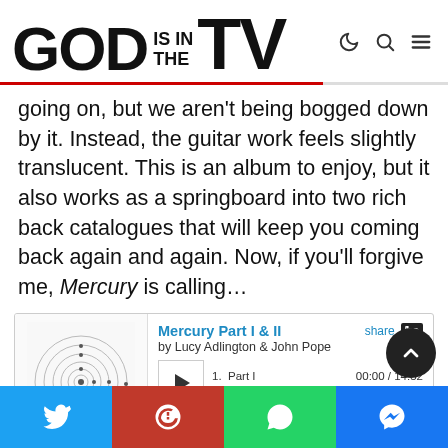GOD IS IN THE TV
going on, but we aren't being bogged down by it. Instead, the guitar work feels slightly translucent. This is an album to enjoy, but it also works as a springboard into two rich back catalogues that will keep you coming back again and again. Now, if you'll forgive me, Mercury is calling…
[Figure (screenshot): Bandcamp embedded music player showing 'Mercury Part I & II' by Lucy Adlington & John Pope, with album art showing a solar system diagram, play button, track 1 Part I, time 00:00 / 14:52]
[Figure (infographic): Social sharing footer with four colored buttons: Twitter (blue), Pinterest (red), WhatsApp (green), Facebook Messenger (blue)]